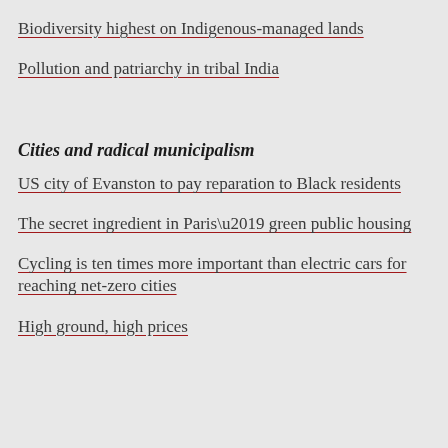Biodiversity highest on Indigenous-managed lands
Pollution and patriarchy in tribal India
Cities and radical municipalism
US city of Evanston to pay reparation to Black residents
The secret ingredient in Paris’ green public housing
Cycling is ten times more important than electric cars for reaching net-zero cities
High ground, high prices